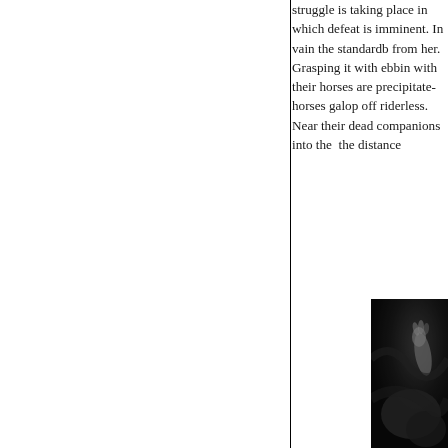struggle is taking place in which defeat is imminent. In vain the standardbearer tries to save it from her. Grasping it with ebbing strength, riders with their horses are precipitated to the ground, horses galop off riderless. Nearer soldiers drag their dead companions into the battle, smoke in the distance
[Figure (photo): A dark black and white image showing a dramatic scene, partially visible at the right side of the page. A hand or arm is visible reaching upward against a very dark background.]